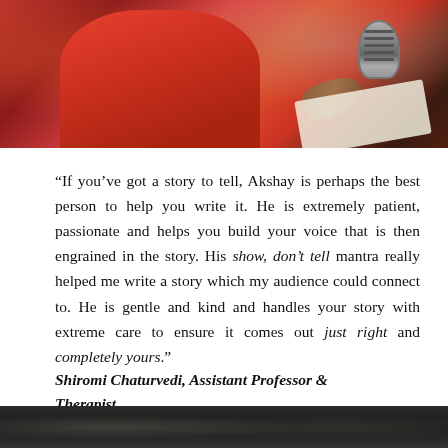[Figure (photo): Person in red dress speaking into a vintage microphone, holding papers]
“If you’ve got a story to tell, Akshay is perhaps the best person to help you write it. He is extremely patient, passionate and helps you build your voice that is then engrained in the story. His show, don’t tell mantra really helped me write a story which my audience could connect to. He is gentle and kind and handles your story with extreme care to ensure it comes out just right and completely yours.”
Shiromi Chaturvedi, Assistant Professor & Therapist
[Figure (photo): Partial photo at the bottom of the page showing people]